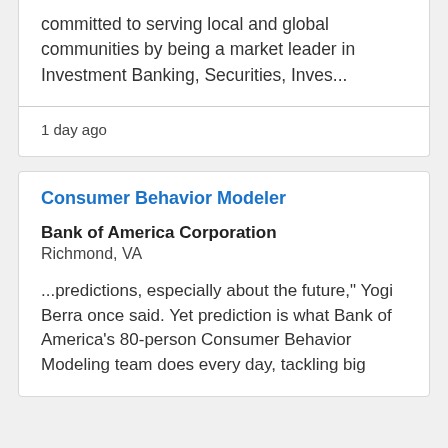committed to serving local and global communities by being a market leader in Investment Banking, Securities, Inves...
1 day ago
Consumer Behavior Modeler
Bank of America Corporation
Richmond, VA
...predictions, especially about the future," Yogi Berra once said. Yet prediction is what Bank of America's 80-person Consumer Behavior Modeling team does every day, tackling big